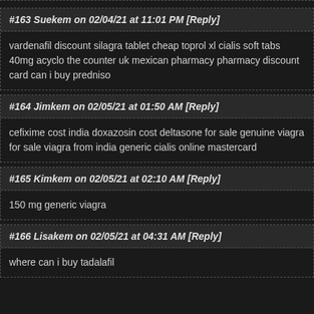#163 Suekem on 02/04/21 at 11:01 PM [Reply]
vardenafil discount silagra tablet cheap toprol xl cialis soft tabs 40mg acyclo the counter uk mexican pharmacy pharmacy discount card can i buy predniso
#164 Jimkem on 02/05/21 at 01:50 AM [Reply]
cefixime cost india doxazosin cost deltasone for sale genuine viagra for sale viagra from india generic cialis online mastercard
#165 Kimkem on 02/05/21 at 02:10 AM [Reply]
150 mg generic viagra
#166 Lisakem on 02/05/21 at 04:31 AM [Reply]
where can i buy tadalafil